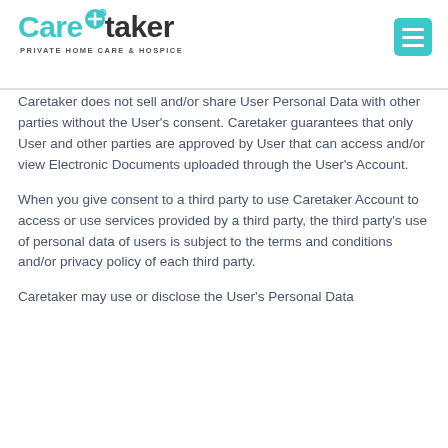[Figure (logo): Caretaker logo with teal 'Care' and dark 'taker' text, plus tagline 'PRIVATE HOME CARE & HOSPICE']
Caretaker does not sell and/or share User Personal Data with other parties without the User's consent. Caretaker guarantees that only User and other parties are approved by User that can access and/or view Electronic Documents uploaded through the User's Account.
When you give consent to a third party to use Caretaker Account to access or use services provided by a third party, the third party's use of personal data of users is subject to the terms and conditions and/or privacy policy of each third party.
Caretaker may use or disclose the User's Personal Data